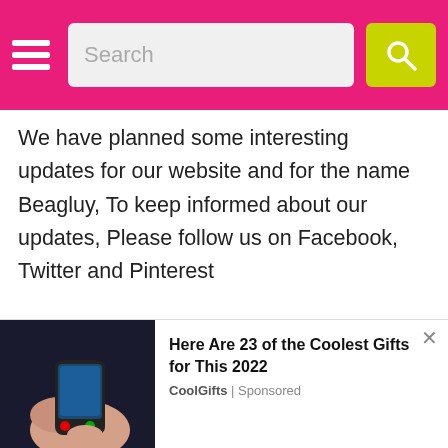Search [search bar with button]
We have planned some interesting updates for our website and for the name Beagluy, To keep informed about our updates, Please follow us on Facebook, Twitter and Pinterest
Follow NamesLook on Facebook
Follow NamesLook on Twitter
Follow NamesLook on Pinterest
Popular Peoples & Celebrities on
[Figure (screenshot): Advertisement overlay: Nokia phone in hand, with text 'Here Are 23 of the Coolest Gifts for This 2022' by CoolGifts | Sponsored]